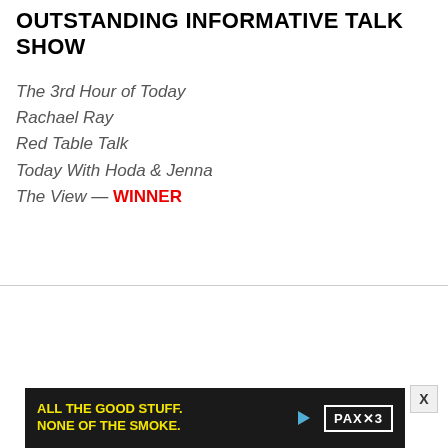OUTSTANDING INFORMATIVE TALK SHOW
The 3rd Hour of Today
Rachael Ray
Red Table Talk
Today With Hoda & Jenna
The View — WINNER
[Figure (infographic): Advertisement for PAX3 vaporizer: dark background with yellow text reading 'ALL THE GOOD STUFF. NONE OF THE SMOKE.' and PAX3 logo in white border box on the right.]